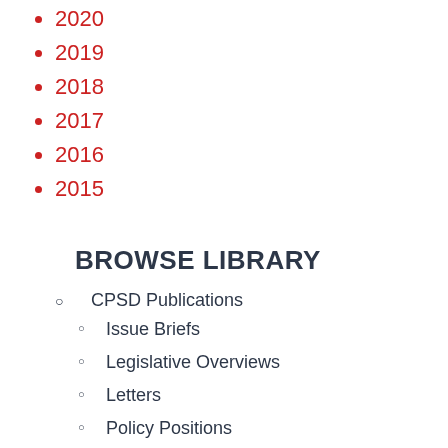2020
2019
2018
2017
2016
2015
BROWSE LIBRARY
CPSD Publications
Issue Briefs
Legislative Overviews
Letters
Policy Positions
Statements
White Papers